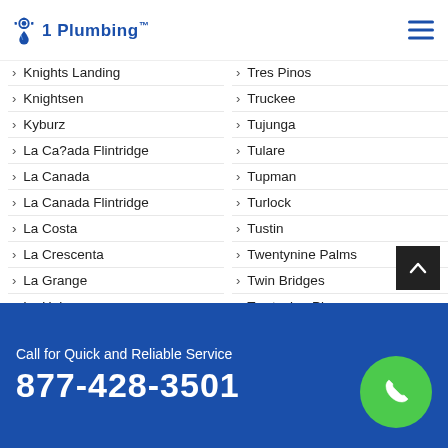1 Plumbing
Knights Landing
Tres Pinos
Knightsen
Truckee
Kyburz
Tujunga
La Ca?ada Flintridge
Tulare
La Canada
Tupman
La Canada Flintridge
Turlock
La Costa
Tustin
La Crescenta
Twentynine Palms
La Grange
Twin Bridges
La Habra
Twntynine Plm
La Honda
Union City
Call for Quick and Reliable Service 877-428-3501